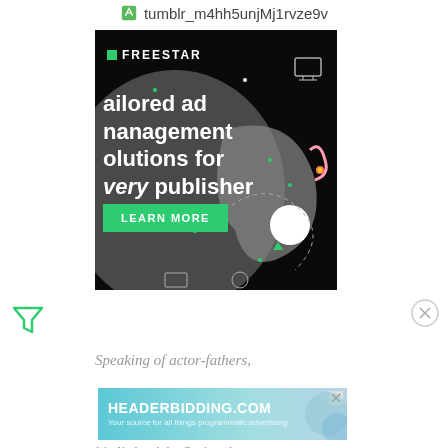tumblr_m4hh5unjMj1rvze9v
[Figure (screenshot): Freestar advertisement on dark background reading 'Tailored ad management solutions for every publisher' with a green LEARN MORE button]
[Figure (logo): Filter/funnel icon (Freestar brand icon)]
[Figure (other): Close/X circle button]
Speaking of actor-fathers,
[Figure (screenshot): HEADERBIDDING.COM advertisement - Your source for all things programmatic advertising.]
his little girls. Seriously.